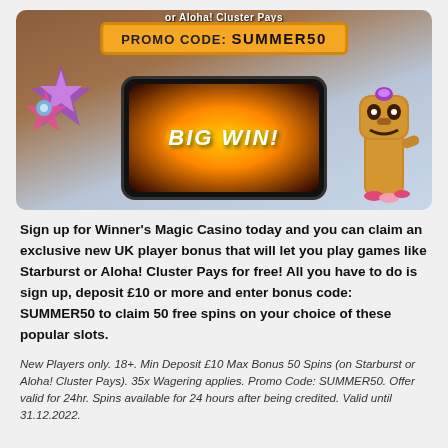[Figure (screenshot): Promotional casino banner showing a mobile phone with BIG WIN! slot game display, a tiki statue, tropical flowers/stars, and a promo code banner reading PROMO CODE: SUMMER50 on a wooden background.]
Sign up for Winner's Magic Casino today and you can claim an exclusive new UK player bonus that will let you play games like Starburst or Aloha! Cluster Pays for free! All you have to do is sign up, deposit £10 or more and enter bonus code: SUMMER50 to claim 50 free spins on your choice of these popular slots.
New Players only. 18+. Min Deposit £10 Max Bonus 50 Spins (on Starburst or Aloha! Cluster Pays). 35x Wagering applies. Promo Code: SUMMER50. Offer valid for 24hr. Spins available for 24 hours after being credited. Valid until 31.12.2022.